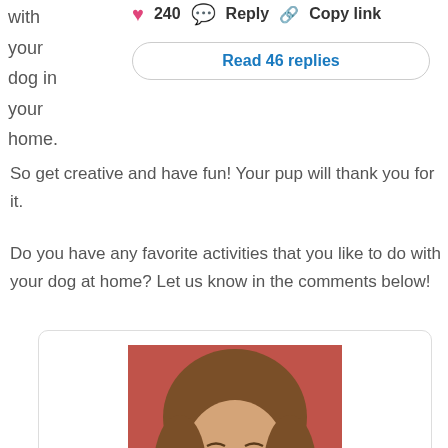with your dog in your home.
240
Reply
Copy link
Read 46 replies
So get creative and have fun! Your pup will thank you for it.
Do you have any favorite activities that you like to do with your dog at home? Let us know in the comments below!
[Figure (photo): Headshot photo of a smiling woman with curly brown hair]
Sharon McWilliams